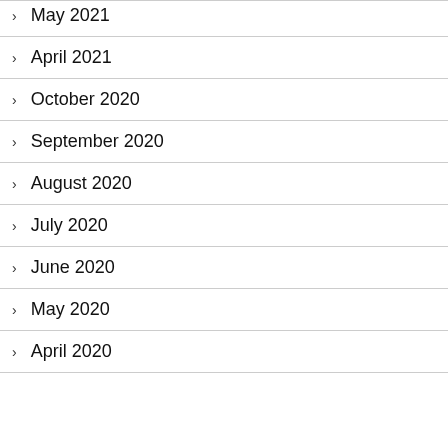May 2021
April 2021
October 2020
September 2020
August 2020
July 2020
June 2020
May 2020
April 2020